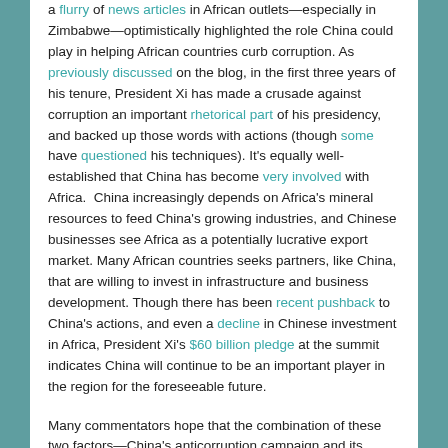a flurry of news articles in African outlets—especially in Zimbabwe—optimistically highlighted the role China could play in helping African countries curb corruption. As previously discussed on the blog, in the first three years of his tenure, President Xi has made a crusade against corruption an important rhetorical part of his presidency, and backed up those words with actions (though some have questioned his techniques). It's equally well-established that China has become very involved with Africa.  China increasingly depends on Africa's mineral resources to feed China's growing industries, and Chinese businesses see Africa as a potentially lucrative export market. Many African countries seeks partners, like China, that are willing to invest in infrastructure and business development. Though there has been recent pushback to China's actions, and even a decline in Chinese investment in Africa, President Xi's $60 billion pledge at the summit indicates China will continue to be an important player in the region for the foreseeable future.
Many commentators hope that the combination of these two factors—China's anticorruption campaign and its